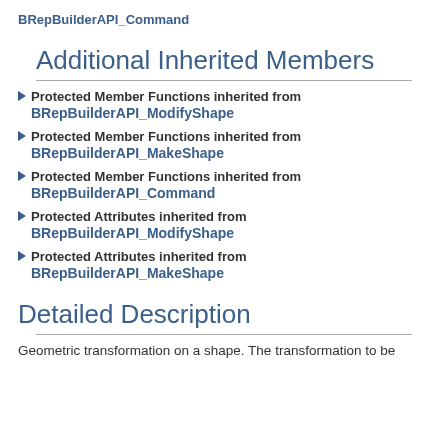BRepBuilderAPI_Command
Additional Inherited Members
Protected Member Functions inherited from BRepBuilderAPI_ModifyShape
Protected Member Functions inherited from BRepBuilderAPI_MakeShape
Protected Member Functions inherited from BRepBuilderAPI_Command
Protected Attributes inherited from BRepBuilderAPI_ModifyShape
Protected Attributes inherited from BRepBuilderAPI_MakeShape
Detailed Description
Geometric transformation on a shape. The transformation to be